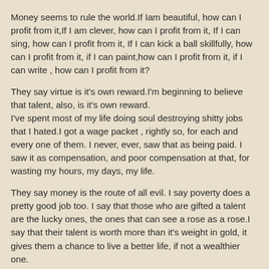Money seems to rule the world.If Iam beautiful, how can I profit from it,If I am clever, how can I profit from it, If I can sing, how can I profit from it, If I can kick a ball skillfully, how can I profit from it, if I can paint,how can I profit from it, if I can write , how can I profit from it?
They say virtue is it's own reward.I'm beginning to believe that talent, also, is it's own reward.
I've spent most of my life doing soul destroying shitty jobs that I hated.I got a wage packet , rightly so, for each and every one of them. I never, ever, saw that as being paid. I saw it as compensation, and poor compensation at that, for wasting my hours, my days, my life.
They say money is the route of all evil. I say poverty does a pretty good job too. I say that those who are gifted a talent are the lucky ones, the ones that can see a rose as a rose.I say that their talent is worth more than it's weight in gold, it gives them a chance to live a better life, if not a wealthier one.
And yet all they cry for is money.